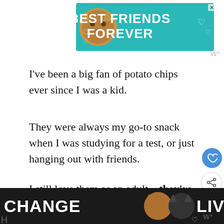[Figure (advertisement): Best Friends Forever ad banner with teal/green background and cat image]
I've been a big fan of potato chips ever since I was a kid.
They were always my go-to snack when I was studying for a test, or just hanging out with friends.
I still love them as an adult—they're crunchy, salty, and they're just so versatile!
[Figure (advertisement): Change Lives ad banner with dark background and two cats image]